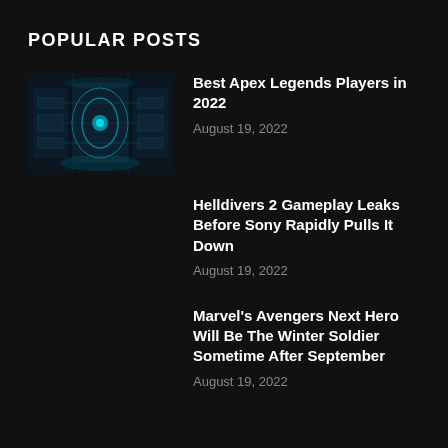POPULAR POSTS
[Figure (photo): Sci-fi interior scene with glowing teal/cyan lighting, futuristic corridor or facility]
Best Apex Legends Players in 2022
August 19, 2022
Helldivers 2 Gameplay Leaks Before Sony Rapidly Pulls It Down
August 19, 2022
Marvel's Avengers Next Hero Will Be The Winter Soldier Sometime After September
August 19, 2022